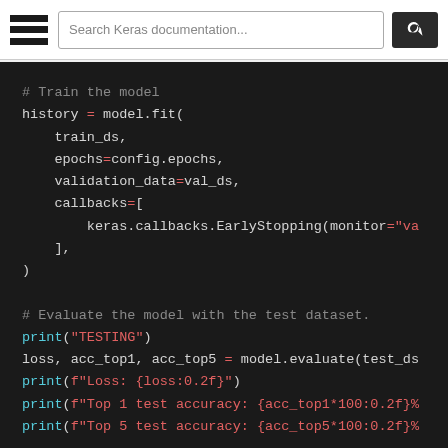Search Keras documentation...
# Train the model
history = model.fit(
    train_ds,
    epochs=config.epochs,
    validation_data=val_ds,
    callbacks=[
        keras.callbacks.EarlyStopping(monitor="va
    ],
)

# Evaluate the model with the test dataset.
print("TESTING")
loss, acc_top1, acc_top5 = model.evaluate(test_ds
print(f"Loss: {loss:0.2f}")
print(f"Top 1 test accuracy: {acc_top1*100:0.2f}%
print(f"Top 5 test accuracy: {acc_top5*100:0.2f}%